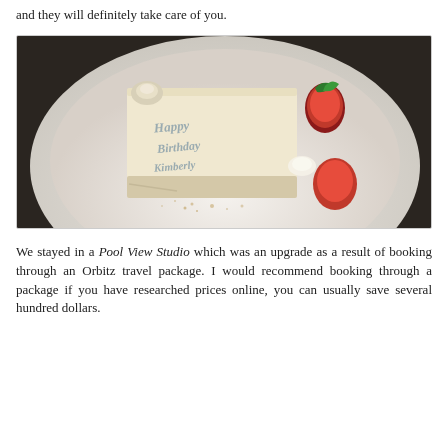and they will definitely take care of you.
[Figure (photo): A slice of white/cream birthday cake on a white plate, decorated with strawberries and a whipped cream rosette. The cake is inscribed with 'Happy Birthday Kimberly' in blue-grey frosting lettering. Small crumbs are scattered on the plate.]
We stayed in a Pool View Studio which was an upgrade as a result of booking through an Orbitz travel package. I would recommend booking through a package if you have researched prices online, you can usually save several hundred dollars.